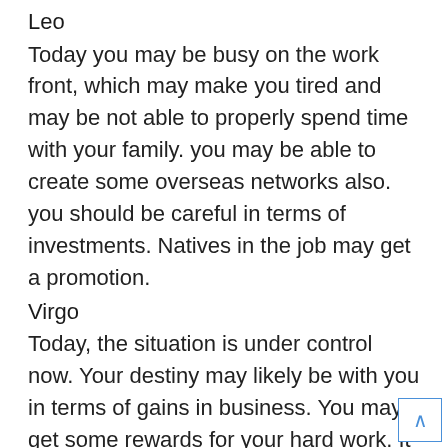Leo
Today you may be busy on the work front, which may make you tired and may be not able to properly spend time with your family. you may be able to create some overseas networks also. you should be careful in terms of investments. Natives in the job may get a promotion.
Virgo
Today, the situation is under control now. Your destiny may likely be with you in terms of gains in business. You may get some rewards for your hard work. It may be a good time to reinitiate your postponed projects. You may expect peaceful religious travel. You may also plan to donate some amount to any religious place or to some charity.
Libra
Today,your moon is not in a good position,you may have health issues. You may face losses in the business or in